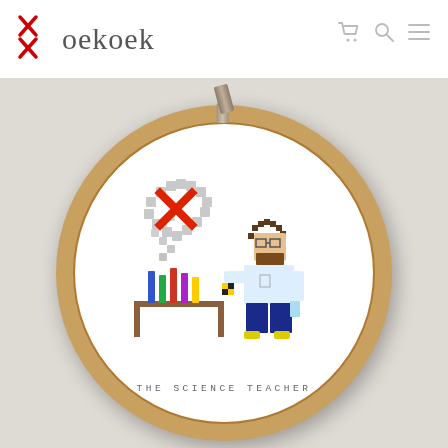Koekoek
[Figure (photo): A cross-stitch embroidery hoop showing a pixel-art scene of a science teacher with wild hair and glasses, sitting at a lab table with colorful test tubes and an explosion of smoke shaped like an X above. Text reads 'THE SCIENCE TEACHER' at the bottom of the embroidery.]
THE SCIENCE TEACHER